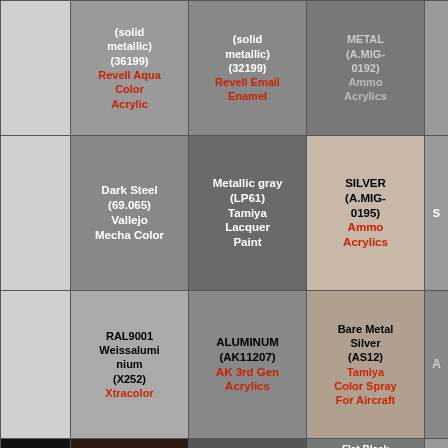|  | (solid metallic) (36199) Revell Aqua Color Acrylic | (solid metallic) (32199) Revell Email Enamel | METAL (A.MIG-0192) Ammo Acrylics |  |
|  | Dark Steel (69.065) Vallejo Mecha Color | Metallic gray (LP61) Tamiya Lacquer Paint | SILVER (A.MIG-0195) Ammo Acrylics | S... |
|  | RAL9001 Weissaluminium (X252) Xtracolor | ALUMINUM (AK11207) AK 3rd Gen Acrylics | Bare Metal Silver (AS12) Tamiya Color Spray For Aircraft | A... |
|  |  |  | Flat Black |  |